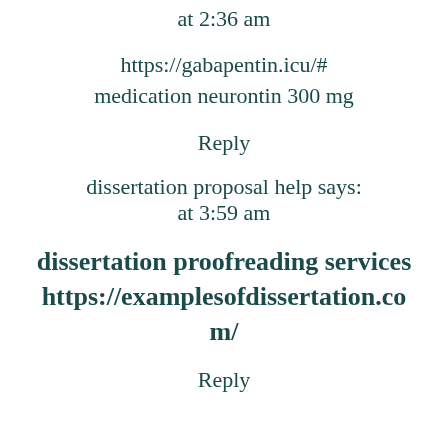at 2:36 am
https://gabapentin.icu/#medication neurontin 300 mg
Reply
dissertation proposal help says: at 3:59 am
dissertation proofreading services https://examplesofdissertation.com/
Reply